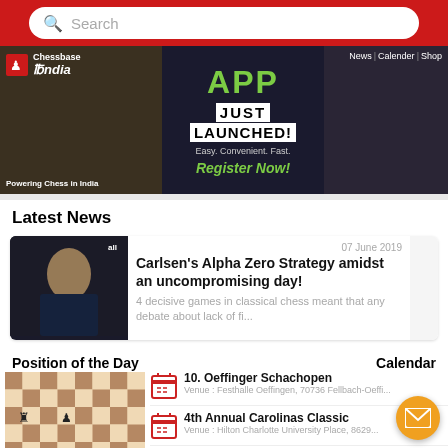[Figure (screenshot): Search bar with magnifying glass icon on red background]
[Figure (screenshot): Banner with three panels: Chess India logo, APP Just Launched announcement, Chess pieces]
Latest News
[Figure (photo): Magnus Carlsen thinking at chess board]
07 June 2019
Carlsen's Alpha Zero Strategy amidst an uncompromising day!
4 decisive games in classical chess meant that any debate about lack of fi...
Position of the Day
Calendar
[Figure (other): Chess board position diagram]
10. Oeffinger Schachopen
Venue : Festhalle Oeffingen, 70736 Fellbach-Oeffi...
4th Annual Carolinas Classic
Venue : Hilton Charlotte University Place, 8629...
Festival WeekEnd Open *Campi...
Venue : Sede di Gioco Dazio Art Cafe', Piazza XXIV...